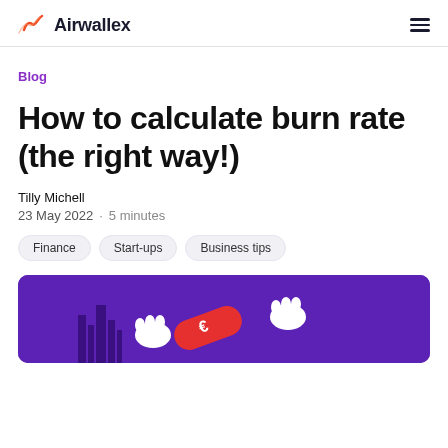Airwallex
Blog
How to calculate burn rate (the right way!)
Tilly Michell
23 May 2022 · 5 minutes
Finance
Start-ups
Business tips
[Figure (illustration): Purple/violet background hero image with illustrated cartoon hands holding a red tube/cylinder with a euro symbol, and a dark cityscape silhouette in the background]